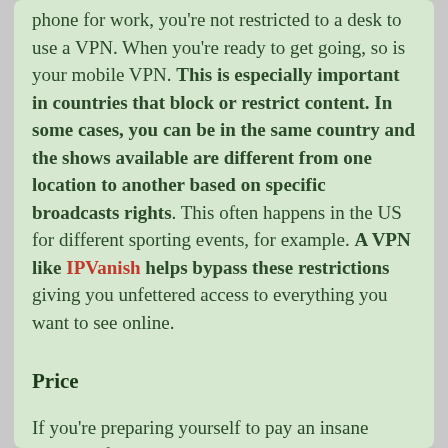phone for work, you're not restricted to a desk to use a VPN. When you're ready to get going, so is your mobile VPN. This is especially important in countries that block or restrict content. In some cases, you can be in the same country and the shows available are different from one location to another based on specific broadcasts rights. This often happens in the US for different sporting events, for example. A VPN like IPVanish helps bypass these restrictions giving you unfettered access to everything you want to see online.
Price
If you're preparing yourself to pay an insane amount of money to get a VPN, you can breathe